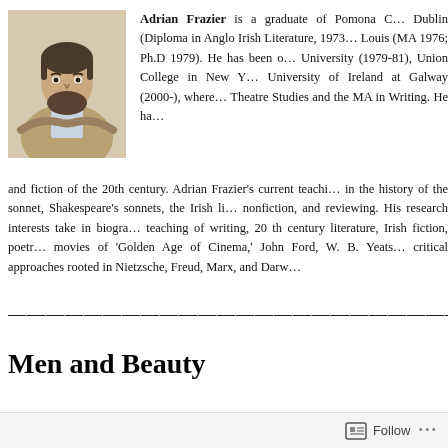[Figure (photo): Headshot photo of Adrian Frazier, a middle-aged man with dark hair and beard, wearing a tan blazer, arms crossed, seated or standing in an academic setting.]
Adrian Frazier is a graduate of Pomona C... Dublin (Diploma in Anglo Irish Literature, 1973... Louis (MA 1976; Ph.D 1979). He has been o... University (1979-81), Union College in New Y... University of Ireland at Galway (2000-), where... Theatre Studies and the MA in Writing. He ha... and fiction of the 20th century. Adrian Frazier's current teachi... in the history of the sonnet, Shakespeare's sonnets, the Irish li... nonfiction, and reviewing. His research interests take in biogra... teaching of writing, 20 th century literature, Irish fiction, poetr... movies of 'Golden Age of Cinema,' John Ford, W. B. Yeats... critical approaches rooted in Nietzsche, Freud, Marx, and Darw...
-------------------------------
Men and Beauty
Follow ···